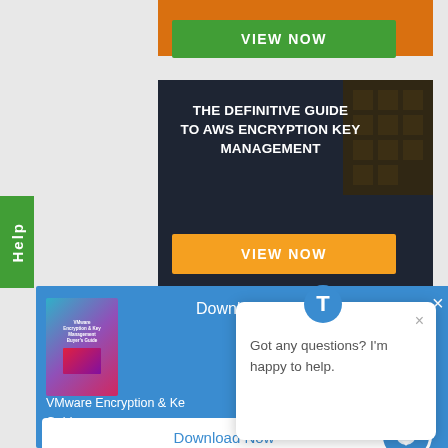[Figure (screenshot): Orange banner with text PROVIDERS at top]
PROVIDERS
[Figure (screenshot): Green VIEW NOW button]
VIEW NOW
[Figure (screenshot): Dark card with AWS encryption guide title]
THE DEFINITIVE GUIDE TO AWS ENCRYPTION KEY MANAGEMENT
[Figure (screenshot): Orange VIEW NOW button]
VIEW NOW
[Figure (screenshot): Help tab on left side]
Help
[Figure (screenshot): Blue download e-Book panel with book image]
Download the e-Book
VMware Encryption & Ke Guide
[Figure (screenshot): Chat popup with message: Got any questions? I'm happy to help.]
Got any questions? I'm happy to help.
Download Now